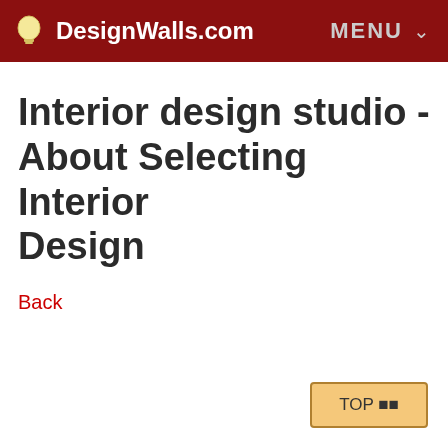DesignWalls.com  MENU
Interior design studio - About Selecting Interior Design
Back
TOP ⬛⬛